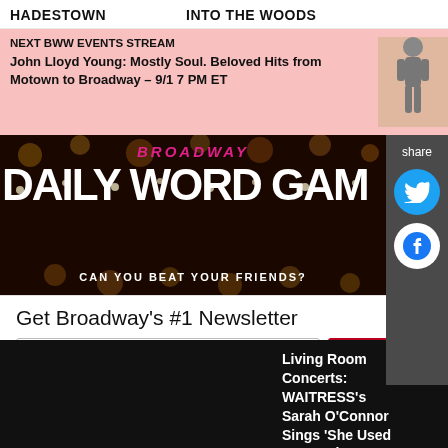HADESTOWN   INTO THE WOODS
NEXT BWW EVENTS STREAM
John Lloyd Young: Mostly Soul. Beloved Hits from Motown to Broadway – 9/1 7 PM ET
[Figure (screenshot): Broadway Daily Word Game banner with bokeh lights background, pink BROADWAY text, white DAILY WORD GAME text, and subtitle CAN YOU BEAT YOUR FRIENDS?]
Get Broadway's #1 Newsletter
News + special offers for Broadway Shows
Living Room Concerts: WAITRESS's Sarah O'Connor Sings 'She Used To Be Mine'